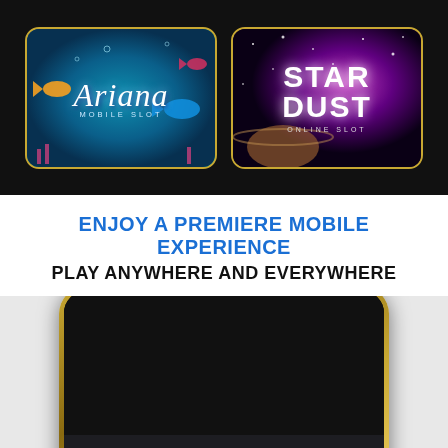[Figure (screenshot): Two casino game thumbnails: Ariana Mobile Slot (underwater theme with fish) and Star Dust Online Slot (space/galaxy theme), both with gold borders on dark background]
ENJOY A PREMIERE MOBILE EXPERIENCE
PLAY ANYWHERE AND EVERYWHERE
[Figure (screenshot): Smartphone with gold border showing dark screen with cookie consent banner: 'We use cookies to enhance your experience. By continuing to visit this site you agree to our Privacy Policy and use of cookies.' with OK button]